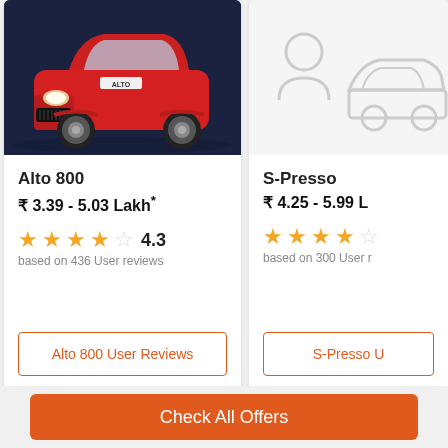[Figure (photo): Red Maruti Suzuki Alto 800 car front view on dark blue background]
Alto 800
₹ 3.39 - 5.03 Lakh*
★★★★☆ 4.3
based on 436 User reviews
Alto 800 User Reviews
[Figure (illustration): Gray placeholder illustration of S-Presso car with person icon on white background]
S-Presso
₹ 4.25 - 5.99 L
★★★★☆
based on 300 User r
S-Presso U
Check All Offers